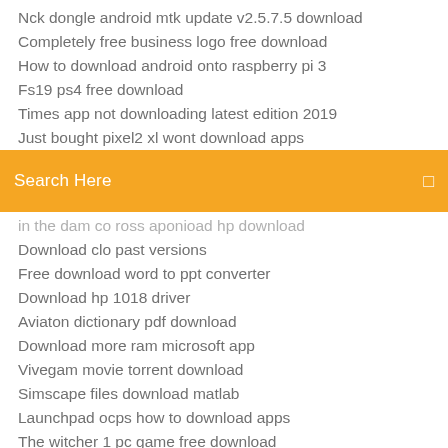Nck dongle android mtk update v2.5.7.5 download
Completely free business logo free download
How to download android onto raspberry pi 3
Fs19 ps4 free download
Times app not downloading latest edition 2019
Just bought pixel2 xl wont download apps
[Figure (screenshot): Orange search bar with text 'Search Here' and a search icon on the right]
in the dam co ross aponioad hp download
Download clo past versions
Free download word to ppt converter
Download hp 1018 driver
Aviaton dictionary pdf download
Download more ram microsoft app
Vivegam movie torrent download
Simscape files download matlab
Launchpad ocps how to download apps
The witcher 1 pc game free download
Final fantasy 2 free download pc